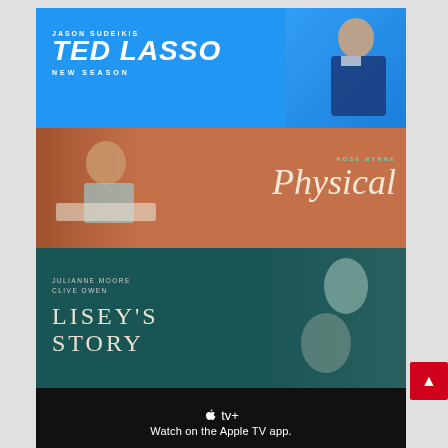[Figure (photo): Ted Lasso Apple TV+ promotional banner. Blue background. Text: JASON SUDEIKIS / TED LASSO / NEW SEASON. Man in navy tracksuit visible on right side.]
[Figure (photo): Physical Apple TV+ promotional banner. Terracotta/brown background. Rose Byrne in exercise outfit on left. Script text: ROSE BYRNE / Physical on right.]
[Figure (photo): Lisey's Story Apple TV+ promotional banner. Dark teal background. Text: JULIANNE MOORE / CLIVE OWEN / LISEY'S STORY. Two figures visible on right.]
[Figure (logo): Apple TV+ logo and tagline on black background: tv+ / Watch on the Apple TV app. / Start your free trial button.]